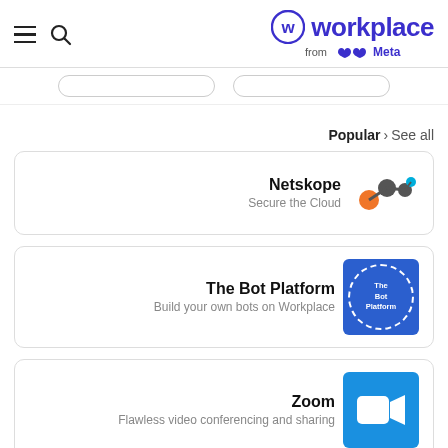[Figure (logo): Workplace from Meta logo with hamburger menu and search icon on left]
Popular › See all
[Figure (logo): Netskope - Secure the Cloud integration card with Netskope logo]
[Figure (logo): The Bot Platform - Build your own bots on Workplace integration card with Bot Platform logo]
[Figure (logo): Zoom - Flawless video conferencing and sharing integration card with Zoom logo]